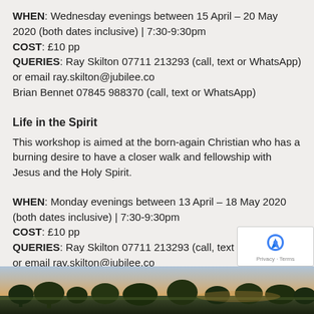WHEN: Wednesday evenings between 15 April – 20 May 2020 (both dates inclusive) | 7:30-9:30pm
COST: £10 pp
QUERIES: Ray Skilton 07711 213293 (call, text or WhatsApp) or email ray.skilton@jubilee.co
Brian Bennet 07845 988370 (call, text or WhatsApp)
Life in the Spirit
This workshop is aimed at the born-again Christian who has a burning desire to have a closer walk and fellowship with Jesus and the Holy Spirit.
WHEN: Monday evenings between 13 April – 18 May 2020 (both dates inclusive) | 7:30-9:30pm
COST: £10 pp
QUERIES: Ray Skilton 07711 213293 (call, text or WhatsApp) or email ray.skilton@jubilee.co
[Figure (photo): Landscape photo showing a countryside scene with trees and open fields at dusk/twilight]